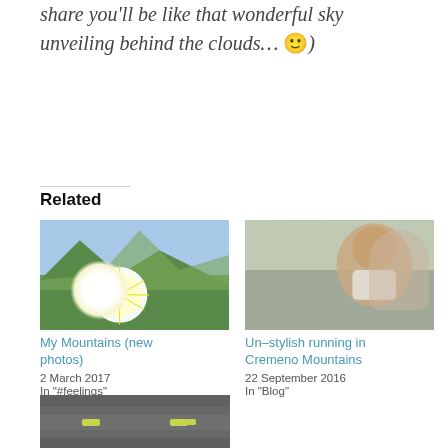share you'll be like that wonderful sky unveiling behind the clouds… 🙂)
Related
[Figure (photo): Mountain landscape with a white daisy flower in the foreground and mountains with clouds in the background]
My Mountains (new photos)
2 March 2017
In "#feelings"
[Figure (photo): Man lying on ground taking a selfie on a gravel path outdoors]
Un–stylish running in Cremeno Mountains
22 September 2016
In "Blog"
[Figure (photo): Road surface view showing lane markings]